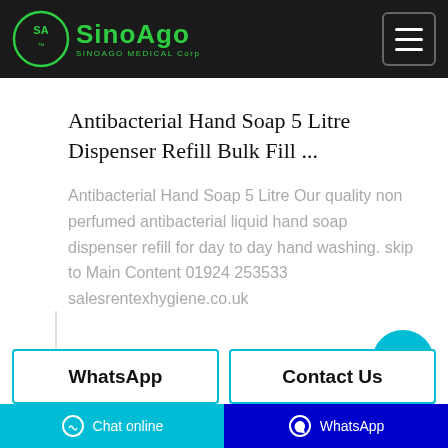SinoAgo SINOAGO MEDICAL Corp
Antibacterial Hand Soap 5 Litre Dispenser Refill Bulk Fill ...
Antibacterial Hand Soap 5 Litre Our quality non perfumed antibacterial liquid hand soap dispenser refill for day to day hand washing. skip to Main Content 01924 253533 salesrentexhygiene.co.uk
WhatsApp
Contact Us
Chat online  WhatsApp